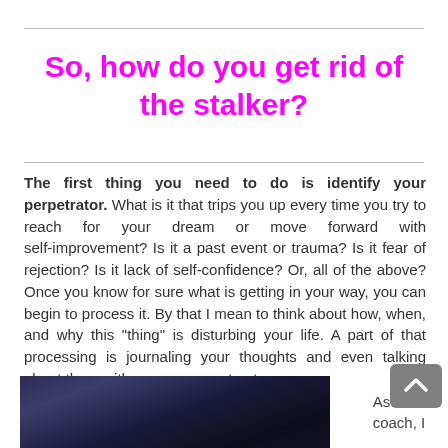So, how do you get rid of the stalker?
The first thing you need to do is identify your perpetrator. What is it that trips you up every time you try to reach for your dream or move forward with self-improvement? Is it a past event or trauma? Is it fear of rejection? Is it lack of self-confidence? Or, all of the above? Once you know for sure what is getting in your way, you can begin to process it. By that I mean to think about how, when, and why this "thing" is disturbing your life. A part of that processing is journaling your thoughts and even talking about them with someone you trust.
[Figure (photo): Dark abstract image, possibly a road or motion blur with blue/purple tones]
As a life coach, I